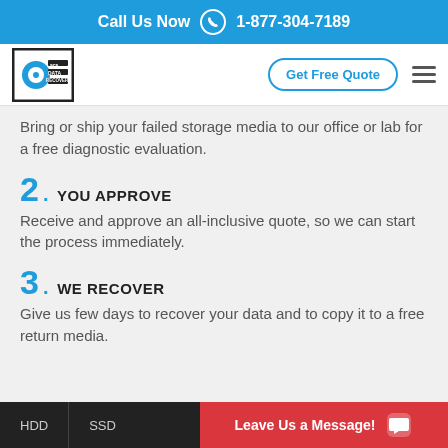Call Us Now 1-877-304-7189
[Figure (logo): Ace Data Recovery logo with hard drive icon]
Bring or ship your failed storage media to our office or lab for a free diagnostic evaluation.
2. YOU APPROVE
Receive and approve an all-inclusive quote, so we can start the process immediately.
3. WE RECOVER
Give us few days to recover your data and to copy it to a free return media.
HDD  SSD  Leave Us a Message!